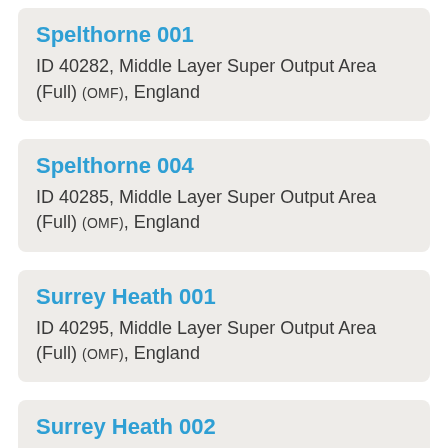Spelthorne 001
ID 40282, Middle Layer Super Output Area (Full) (OMF), England
Spelthorne 004
ID 40285, Middle Layer Super Output Area (Full) (OMF), England
Surrey Heath 001
ID 40295, Middle Layer Super Output Area (Full) (OMF), England
Surrey Heath 002
ID 40296, Middle Layer Super Output Area (Full) (OMF), England